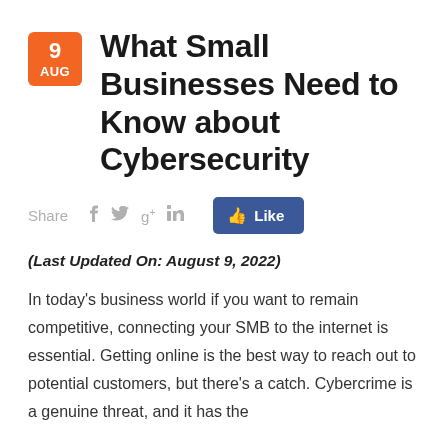What Small Businesses Need to Know about Cybersecurity
[Figure (infographic): Social share bar with Share label, Facebook, Twitter, Google+, LinkedIn icons, and a blue Like button]
(Last Updated On: August 9, 2022)
In today’s business world if you want to remain competitive, connecting your SMB to the internet is essential. Getting online is the best way to reach out to potential customers, but there’s a catch. Cybercrime is a genuine threat, and it has the